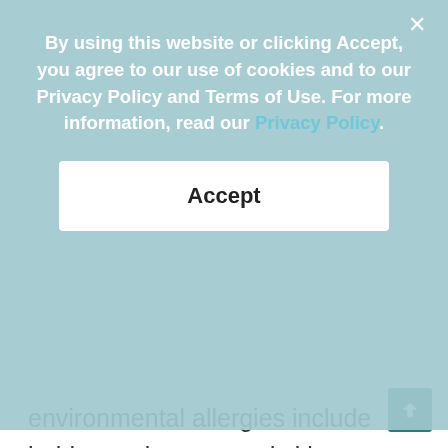By using this website or clicking Accept, you agree to our use of cookies and to our Privacy Policy and Terms of Use. For more information, read our Privacy Policy.
Accept
environmental allergies include bald tummies, ear and skin infections, and excessive grooming. Some may also experience runny noses, watery eyes, congestion, inflamed paws, diarrhea, and vomiting.